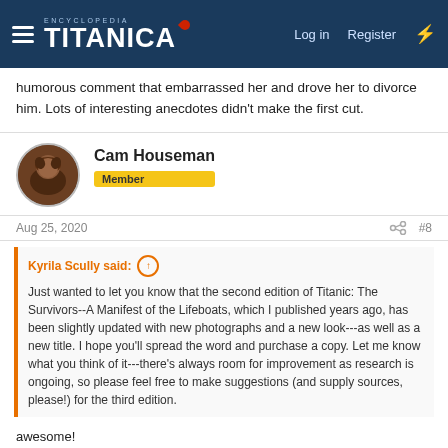Encyclopedia Titanica — Log in | Register
humorous comment that embarrassed her and drove her to divorce him. Lots of interesting anecdotes didn't make the first cut.
Cam Houseman
Member
Aug 25, 2020  #8
Kyrila Scully said:
Just wanted to let you know that the second edition of Titanic: The Survivors--A Manifest of the Lifeboats, which I published years ago, has been slightly updated with new photographs and a new look---as well as a new title. I hope you'll spread the word and purchase a copy. Let me know what you think of it---there's always room for improvement as research is ongoing, so please feel free to make suggestions (and supply sources, please!) for the third edition.
awesome!